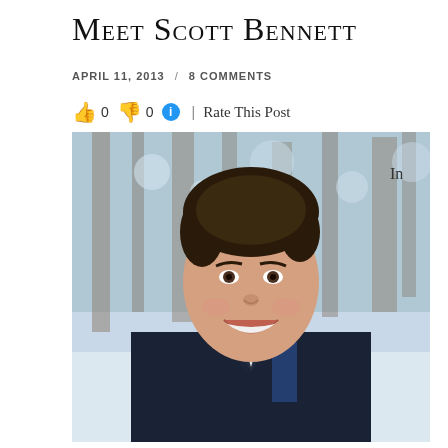Meet Scott Bennett
APRIL 11, 2013 / 8 COMMENTS
👍 0 👎 0 ℹ | Rate This Post
[Figure (photo): Smiling man with dark hair wearing a dark coat outdoors in a wintry setting with blurred trees in the background]
In